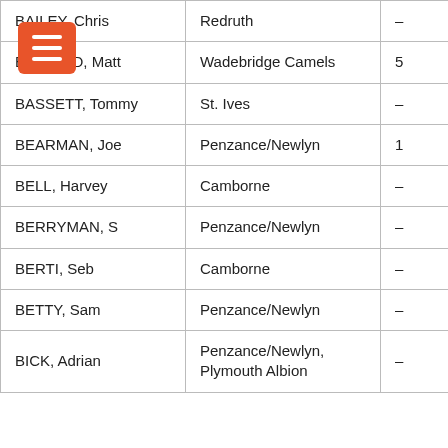| Name | Club | Score |
| --- | --- | --- |
| BAILEY, Chris | Redruth | – |
| BALLARD, Matt | Wadebridge Camels | 5 |
| BASSETT, Tommy | St. Ives | – |
| BEARMAN, Joe | Penzance/Newlyn | 1 |
| BELL, Harvey | Camborne | – |
| BERRYMAN, S | Penzance/Newlyn | – |
| BERTI, Seb | Camborne | – |
| BETTY, Sam | Penzance/Newlyn | – |
| BICK, Adrian | Penzance/Newlyn, Plymouth Albion | – |